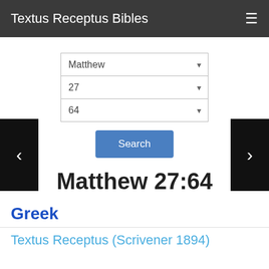Textus Receptus Bibles
[Figure (screenshot): Three dropdown selectors for book (Matthew), chapter (27), and verse (64) navigation with a Search button]
Matthew 27:64
Greek
Textus Receptus (Scrivener 1894)